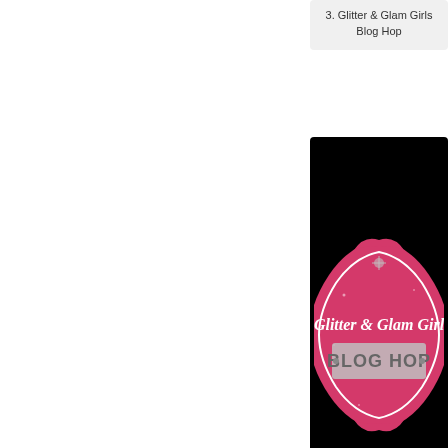3. Glitter & Glam Girls Blog Hop
[Figure (illustration): Glitter & Glam Girls Blog Hop badge on black background - pink ornate frame with text 'Glitter & Glam Girls BLOG HOP']
visit link
5. Glitter & Glam Girls Blog Hop
[Figure (illustration): Loading spinner icon - blue circular arc spinner]